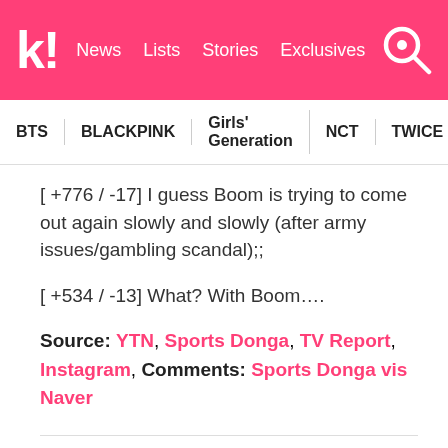k! News  Lists  Stories  Exclusives
BTS  BLACKPINK  Girls' Generation  NCT  TWICE  aespa
[ +776 / -17] I guess Boom is trying to come out again slowly and slowly (after army issues/gambling scandal);;
[ +534 / -13] What? With Boom....
Source: YTN, Sports Donga, TV Report, Instagram, Comments: Sports Donga vis Naver
Share This Post